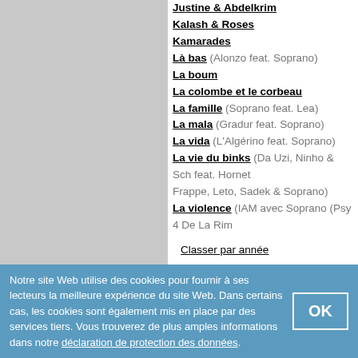Justine & Abdelkrim
Kalash & Roses
Kamarades
Là bas (Alonzo feat. Soprano)
La boum
La colombe et le corbeau
La famille (Soprano feat. Lea)
La mala (Gradur feat. Soprano)
La vida (L'Algérino feat. Soprano)
La vie du binks (Da Uzi, Ninho & Sch feat. Hornet Frappe, Leto, Sadek & Soprano)
La violence (IAM avec Soprano (Psy 4 De La Rim...
La voisine
Classer par année
Ajouter une chanson
ALBUMS DE SOPRANO
2CD Originals: Live au Dôme de Marseille / Puisq... vivre
Notre site Web utilise des cookies pour fournir à ses lecteurs la meilleure expérience du site Web. Dans certains cas, les cookies sont également mis en place par des services tiers. Vous trouverez de plus amples informations dans notre déclaration de protection des données.